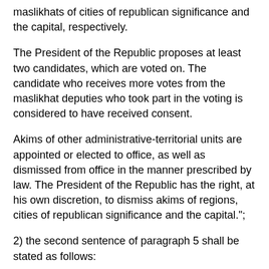maslikhats of cities of republican significance and the capital, respectively.
The President of the Republic proposes at least two candidates, which are voted on. The candidate who receives more votes from the maslikhat deputies who took part in the voting is considered to have received consent.
Akims of other administrative-territorial units are appointed or elected to office, as well as dismissed from office in the manner prescribed by law. The President of the Republic has the right, at his own discretion, to dismiss akims of regions, cities of republican significance and the capital.";
2) the second sentence of paragraph 5 shall be stated as follows:
“In this case, the maslikhat, by a majority vote of the total number of its deputies, has the right to express no